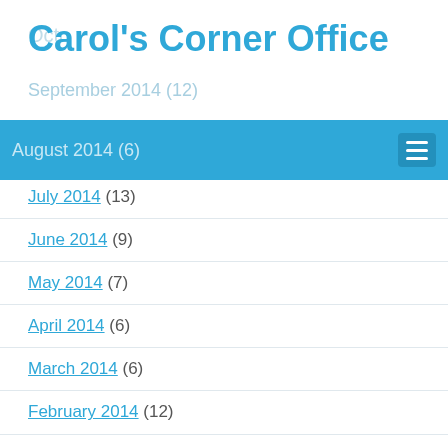Carol's Corner Office
October
September 2014 (12)
August 2014 (6)
July 2014 (13)
June 2014 (9)
May 2014 (7)
April 2014 (6)
March 2014 (6)
February 2014 (12)
January 2014 (11)
December 2013 (1)